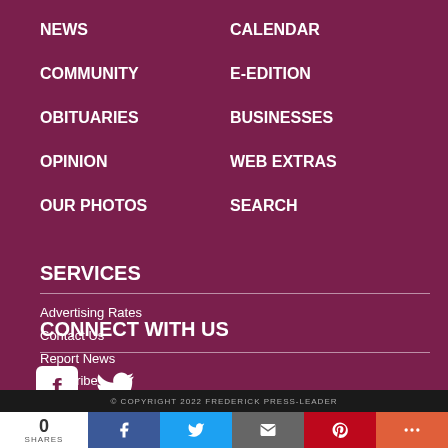NEWS
CALENDAR
COMMUNITY
E-EDITION
OBITUARIES
BUSINESSES
OPINION
WEB EXTRAS
OUR PHOTOS
SEARCH
SERVICES
Advertising Rates
Contact Us
Report News
Subscribe
CONNECT WITH US
[Figure (illustration): Facebook and Twitter social media icons in white]
© COPYRIGHT 2022 FREDERICK PRESS-LEADER
0 SHARES